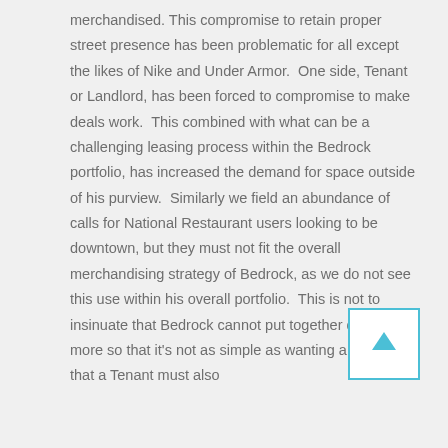merchandised. This compromise to retain proper street presence has been problematic for all except the likes of Nike and Under Armor.  One side, Tenant or Landlord, has been forced to compromise to make deals work.  This combined with what can be a challenging leasing process within the Bedrock portfolio, has increased the demand for space outside of his purview.  Similarly we field an abundance of calls for National Restaurant users looking to be downtown, but they must not fit the overall merchandising strategy of Bedrock, as we do not see this use within his overall portfolio.  This is not to insinuate that Bedrock cannot put together deals, more so that it's not as simple as wanting a space, but that a Tenant must also
[Figure (other): A white square box with a cyan/teal upward-pointing arrow icon, indicating a navigation or scroll-up button.]